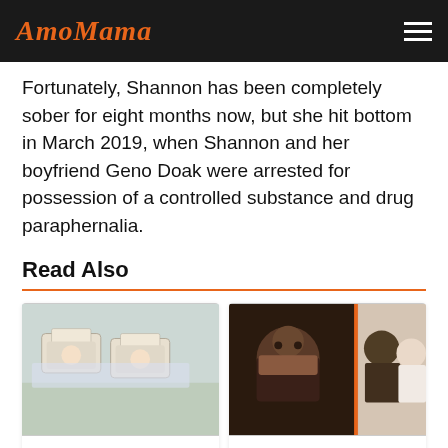AmoMama
Fortunately, Shannon has been completely sober for eight months now, but she hit bottom in March 2019, when Shannon and her boyfriend Geno Doak were arrested for possession of a controlled substance and drug paraphernalia.
Read Also
[Figure (photo): Photo of newborn babies in hospital nursery bassinets]
Man Realizes His Wife Has No Idea She Is Holding Her
[Figure (photo): Photo of John Amos and a composite with a couple at a formal event]
Meet John Amos' Kids with a 'Renaissance Woman' to